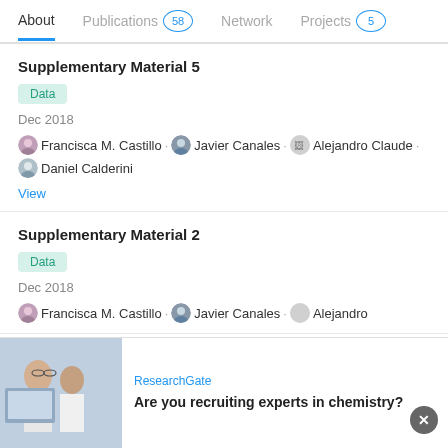About   Publications 58   Network   Projects 5
Supplementary Material 5
Data
Dec 2018
Francisca M. Castillo · Javier Canales · Alejandro Claude · Daniel Calderini
View
Supplementary Material 2
Data
Dec 2018
Francisca M. Castillo · Javier Canales · Alejandro
[Figure (photo): Ad banner: researchers in lab coats looking at a screen. ResearchGate branding. Text: Are you recruiting experts in chemistry?]